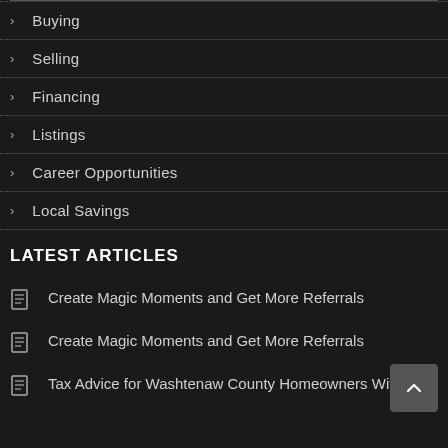Buying
Selling
Financing
Listings
Career Opportunities
Local Savings
LATEST ARTICLES
Create Magic Moments and Get More Referrals
Create Magic Moments and Get More Referrals
Tax Advice for Washtenaw County Homeowners With